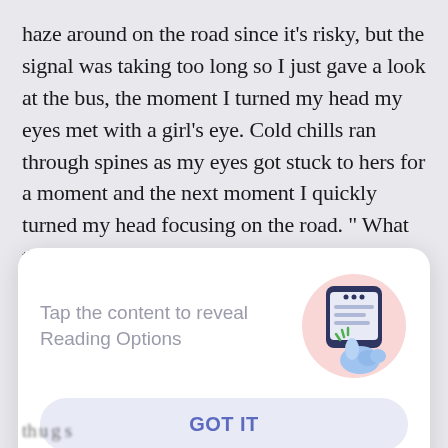haze around on the road since it's risky, but the signal was taking too long so I just gave a look at the bus, the moment I turned my head my eyes met with a girl's eye. Cold chills ran through spines as my eyes got stuck to hers for a moment and the next moment I quickly turned my head focusing on the road. " What the hell? What the hell? She might think I'm checking her out " thoughts ran across my mind. " But her eyes were beautiful, deep like an ocean,
[Figure (illustration): A modal dialog with text 'Tap the content to reveal Reading Options' and an illustration of a hand tapping a smartphone, with a 'GOT IT' button below.]